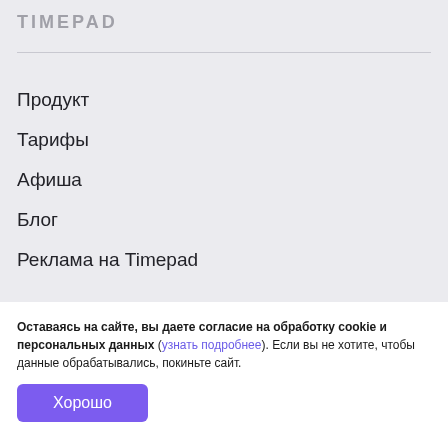TIMEPAD
Продукт
Тарифы
Афиша
Блог
Реклама на Timepad
Оставаясь на сайте, вы даете согласие на обработку cookie и персональных данных (узнать подробнее). Если вы не хотите, чтобы данные обрабатывались, покиньте сайт.
Хорошо